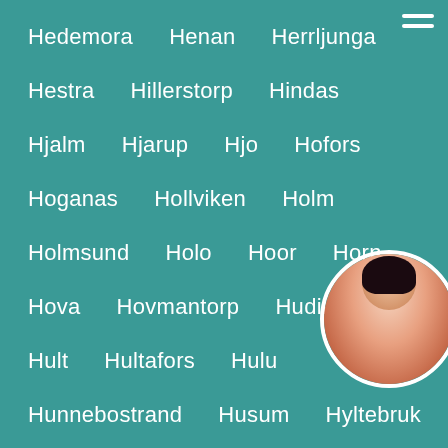Hedemora
Henan
Herrljunga
Hestra
Hillerstorp
Hindas
Hjalm
Hjarup
Hjo
Hofors
Hoganas
Hollviken
Holm
Holmsund
Holo
Hoor
Horn
Hova
Hovmantorp
Hudiksvall
Hult
Hultafors
Hulu
Hunnebostrand
Husum
Hyltebruk
Idre
Iggesund
Immeln
J...
Jarpen
Jarvso
Jokkm...
Jonkoping
Jonstorp
Jorn
Kallax
Kalmar
Karlshamn